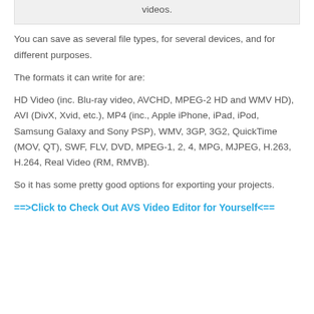videos.
You can save as several file types, for several devices, and for different purposes.
The formats it can write for are:
HD Video (inc. Blu-ray video, AVCHD, MPEG-2 HD and WMV HD), AVI (DivX, Xvid, etc.), MP4 (inc., Apple iPhone, iPad, iPod, Samsung Galaxy and Sony PSP), WMV, 3GP, 3G2, QuickTime (MOV, QT), SWF, FLV, DVD, MPEG-1, 2, 4, MPG, MJPEG, H.263, H.264, Real Video (RM, RMVB).
So it has some pretty good options for exporting your projects.
==>Click to Check Out AVS Video Editor for Yourself<==